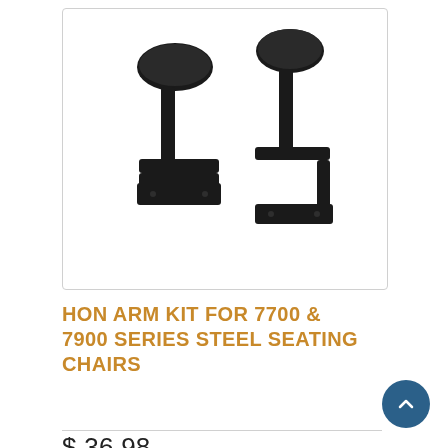[Figure (photo): Product photo of HON arm kit for 7700 & 7900 series steel seating chairs — two black chair armrests with L-shaped metal brackets shown on white background]
HON ARM KIT FOR 7700 & 7900 SERIES STEEL SEATING CHAIRS
$ 36.98